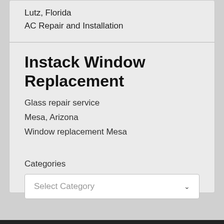Lutz, Florida
AC Repair and Installation
Instack Window Replacement
Glass repair service
Mesa, Arizona
Window replacement Mesa
Categories
Select Category